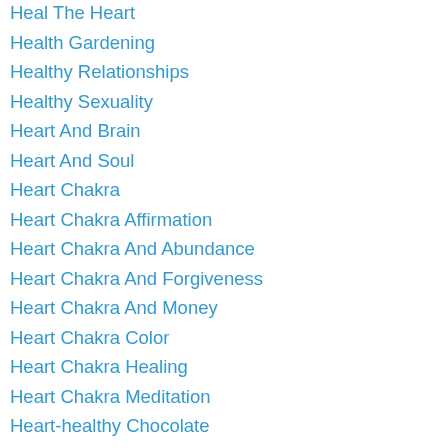Heal The Heart
Health Gardening
Healthy Relationships
Healthy Sexuality
Heart And Brain
Heart And Soul
Heart Chakra
Heart Chakra Affirmation
Heart Chakra And Abundance
Heart Chakra And Forgiveness
Heart Chakra And Money
Heart Chakra Color
Heart Chakra Healing
Heart Chakra Meditation
Heart-healthy Chocolate
Heartmath
Heart Meditation
Help From Angels
Hidden Fears About Love
Highest Consciousness
Holiday Blues